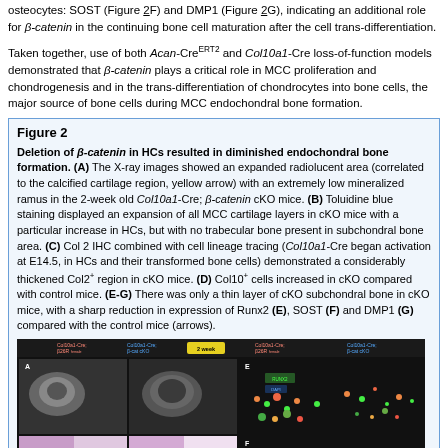osteocytes: SOST (Figure 2F) and DMP1 (Figure 2G), indicating an additional role for β-catenin in the continuing bone cell maturation after the cell trans-differentiation.
Taken together, use of both Acan-CreERT2 and Col10a1-Cre loss-of-function models demonstrated that β-catenin plays a critical role in MCC proliferation and chondrogenesis and in the trans-differentiation of chondrocytes into bone cells, the major source of bone cells during MCC endochondral bone formation.
Figure 2
Deletion of β-catenin in HCs resulted in diminished endochondral bone formation. (A) The X-ray images showed an expanded radiolucent area (correlated to the calcified cartilage region, yellow arrow) with an extremely low mineralized ramus in the 2-week old Col10a1-Cre; β-catenin cKO mice. (B) Toluidine blue staining displayed an expansion of all MCC cartilage layers in cKO mice with a particular increase in HCs, but with no trabecular bone present in subchondral bone area. (C) Col 2 IHC combined with cell lineage tracing (Col10a1-Cre began activation at E14.5, in HCs and their transformed bone cells) demonstrated a considerably thickened Col2+ region in cKO mice. (D) Col10+ cells increased in cKO compared with control mice. (E-G) There was only a thin layer of cKO subchondral bone in cKO mice, with a sharp reduction in expression of Runx2 (E), SOST (F) and DMP1 (G) compared with the control mice (arrows).
[Figure (photo): Microscopy and X-ray image panels showing Col10a1-Cre; β26R female (control) and Col10a1-Cre; β-cat cKO mice at 2 weeks. Panels A-B show X-ray and toluidine blue staining images. Panels E-G show fluorescence IHC images for RUNX2, SOST, and DMP1.]